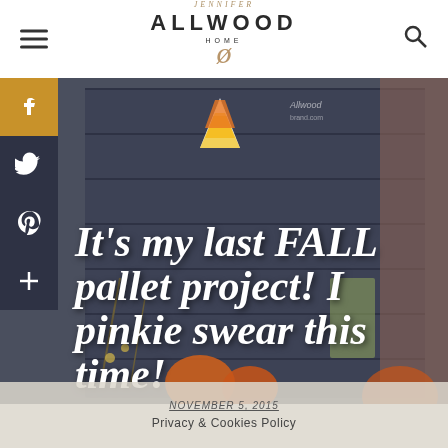Jennifer Allwood Home
[Figure (photo): A fall-themed pallet art project with candy corn decoration, pumpkins, and autumn foliage in the background. Text overlay reads: It's my last FALL pallet project! I pinkie swear this time!]
It’s my last FALL pallet project! I pinkie swear this time!
NOVEMBER 5, 2015
Privacy & Cookies Policy